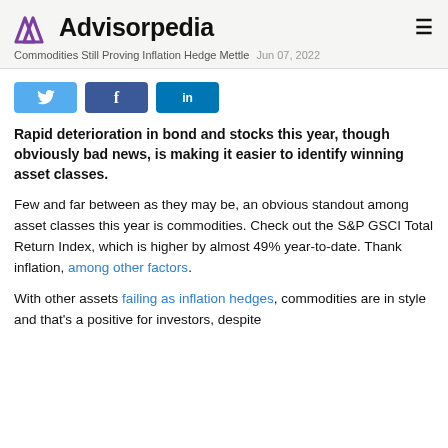Advisorpedia
Commodities Still Proving Inflation Hedge Mettle  Jun 07, 2022
[Figure (infographic): Social share buttons: Twitter (light blue), Facebook (dark blue), LinkedIn (teal-blue)]
Rapid deterioration in bond and stocks this year, though obviously bad news, is making it easier to identify winning asset classes.
Few and far between as they may be, an obvious standout among asset classes this year is commodities. Check out the S&P GSCI Total Return Index, which is higher by almost 49% year-to-date. Thank inflation, among other factors.
With other assets failing as inflation hedges, commodities are in style and that's a positive for investors, despite